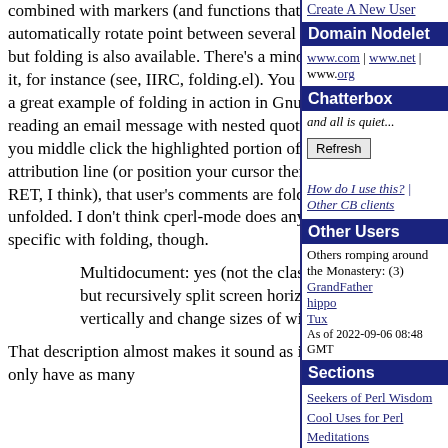combined with markers (and functions that automatically rotate point between several markers), but folding is also available. There's a minor mode for it, for instance (see, IIRC, folding.el). You can also see a great example of folding in action in Gnus: if you're reading an email message with nested quoting, and you middle click the highlighted portion of an attribution line (or position your cursor there and hit RET, I think), that user's comments are folded or unfolded. I don't think cperl-mode does anything Perl-specific with folding, though.
Multidocument: yes (not the classic MDI, but recursively split screen horizontally and vertically and change sizes of windows)
That description almost makes it sound as if you can only have as many
Create A New User
Domain Nodelet
www.com | www.net | www.org
Chatterbox
and all is quiet...
Refresh
How do I use this? | Other CB clients
Other Users
Others romping around the Monastery: (3)
GrandFather
hippo
Tux
As of 2022-09-06 08:48 GMT
Sections
Seekers of Perl Wisdom
Cool Uses for Perl
Meditations
PerlMonks Discussion
Categorized Q&A
Tutorials
Obfuscated Code
Perl Poetry